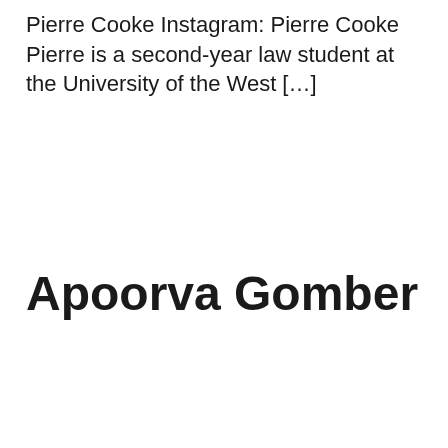Pierre Cooke Instagram: Pierre Cooke Pierre is a second-year law student at the University of the West […]
Apoorva Gomber